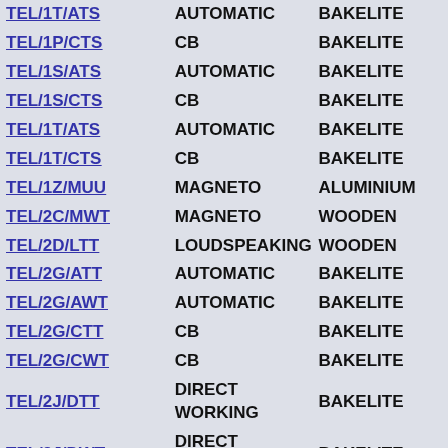| Code | Type | Material |
| --- | --- | --- |
| TEL/1T/ATS | AUTOMATIC | BAKELITE |
| TEL/1P/CTS | CB | BAKELITE |
| TEL/1S/ATS | AUTOMATIC | BAKELITE |
| TEL/1S/CTS | CB | BAKELITE |
| TEL/1T/ATS | AUTOMATIC | BAKELITE |
| TEL/1T/CTS | CB | BAKELITE |
| TEL/1Z/MUU | MAGNETO | ALUMINIUM |
| TEL/2C/MWT | MAGNETO | WOODEN |
| TEL/2D/LTT | LOUDSPEAKING | WOODEN |
| TEL/2G/ATT | AUTOMATIC | BAKELITE |
| TEL/2G/AWT | AUTOMATIC | BAKELITE |
| TEL/2G/CTT | CB | BAKELITE |
| TEL/2G/CWT | CB | BAKELITE |
| TEL/2J/DTT | DIRECT WORKING | BAKELITE |
| TEL/2J/DWT | DIRECT WORKING | BAKELITE |
| TEL/2K/ATT | AUTOMATIC | PLASTIC |
| TEL/2K/CTT | CB | PLASTIC |
| TEL/2K/AWT | AUTOMATIC | PLASTIC |
| TEL/2K/CWT | CB | PLASTIC |
| TEL/2M/AWS | AUTOMATIC | BAKELITE |